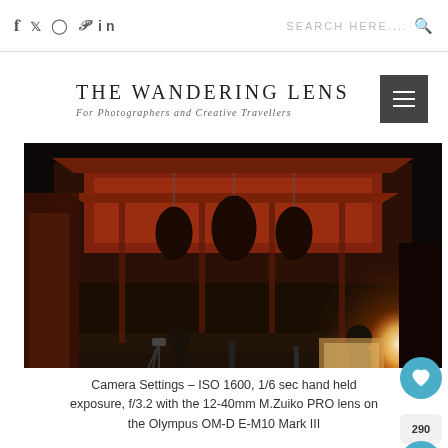f y ⊙ p in   SEARCH HERE....
THE WANDERING LENS
For Photographers and Creative Travellers
[Figure (photo): Night scene at a Japanese temple (likely Senso-ji, Asakusa, Tokyo). Three silhouetted figures visible — one with a tripod on the left, one seated in the middle, one standing on the right. The temple gate is illuminated in red and orange, with large lanterns hanging down. Warm glowing light emanates from the right side of the frame.]
Camera Settings – ISO 1600, 1/6 sec hand held exposure, f/3.2 with the 12-40mm M.Zuiko PRO lens on the Olympus OM-D E-M10 Mark III